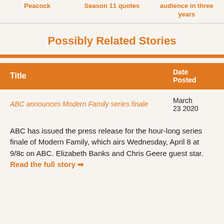Peacock | Season 11 quotes | audience in three years
Possibly Related Stories
| Title | Date Posted |
| --- | --- |
| ABC announces Modern Family series finale | March 23 2020 |
ABC has issued the press release for the hour-long series finale of Modern Family, which airs Wednesday, April 8 at 9/8c on ABC. Elizabeth Banks and Chris Geere guest star. Read the full story →